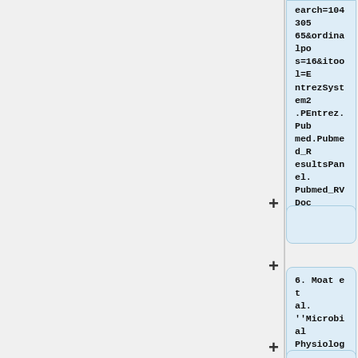earch=10430565&ordinalpos=16&itool=EntrezSystem2.PEntrez.Pubmed.Pubmed_ResultsPanel.Pubmed_RVDocSum
+
+
6. Moat et al. ''Microbial Physiology, 4th edition''. New York: Wiley-Liss. 2002
+